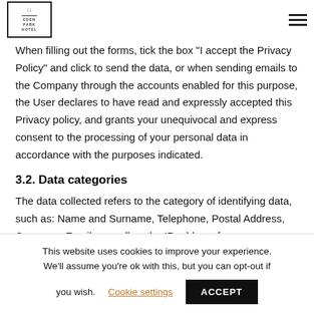Eden Park Hotel logo and navigation
When filling out the forms, tick the box "I accept the Privacy Policy" and click to send the data, or when sending emails to the Company through the accounts enabled for this purpose, the User declares to have read and expressly accepted this Privacy policy, and grants your unequivocal and express consent to the processing of your personal data in accordance with the purposes indicated.
3.2. Data categories
The data collected refers to the category of identifying data, such as: Name and Surname, Telephone, Postal Address, Company, Email, as well as the IP address from
This website uses cookies to improve your experience. We'll assume you're ok with this, but you can opt-out if you wish. Cookie settings ACCEPT